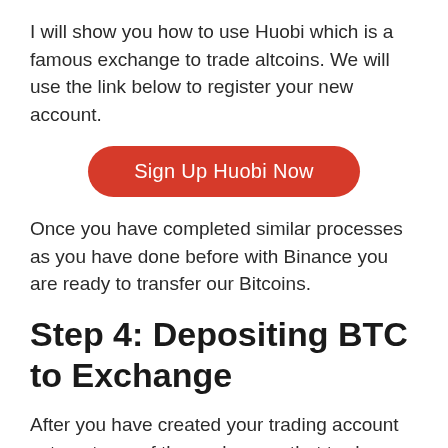I will show you how to use Huobi which is a famous exchange to trade altcoins. We will use the link below to register your new account.
[Figure (other): Red rounded button labeled 'Sign Up Huobi Now']
Once you have completed similar processes as you have done before with Binance you are ready to transfer our Bitcoins.
Step 4: Depositing BTC to Exchange
After you have created your trading account setup at one of the exchanges that trades XRPUP (XRPUP), you will need to transfer